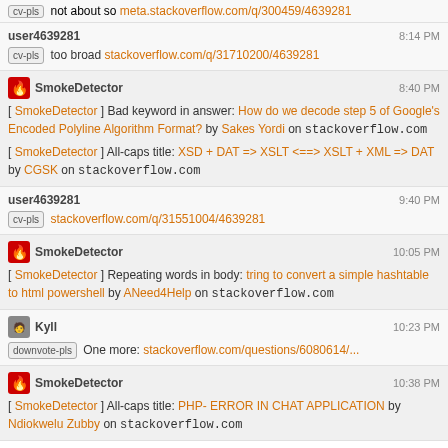[cv-pls] not about so meta.stackoverflow.com/q/300459/4639281
user4639281 8:14 PM [cv-pls] too broad stackoverflow.com/q/31710200/4639281
SmokeDetector 8:40 PM [ SmokeDetector ] Bad keyword in answer: How do we decode step 5 of Google's Encoded Polyline Algorithm Format? by Sakes Yordi on stackoverflow.com
[ SmokeDetector ] All-caps title: XSD + DAT => XSLT <==> XSLT + XML => DAT by CGSK on stackoverflow.com
user4639281 9:40 PM [cv-pls] stackoverflow.com/q/31551004/4639281
SmokeDetector 10:05 PM [ SmokeDetector ] Repeating words in body: tring to convert a simple hashtable to html powershell by ANeed4Help on stackoverflow.com
Kyll 10:23 PM [downvote-pls] One more: stackoverflow.com/questions/6080614/...
SmokeDetector 10:38 PM [ SmokeDetector ] All-caps title: PHP- ERROR IN CHAT APPLICATION by Ndiokwelu Zubby on stackoverflow.com
← prev day | next day → | last day »
join this room